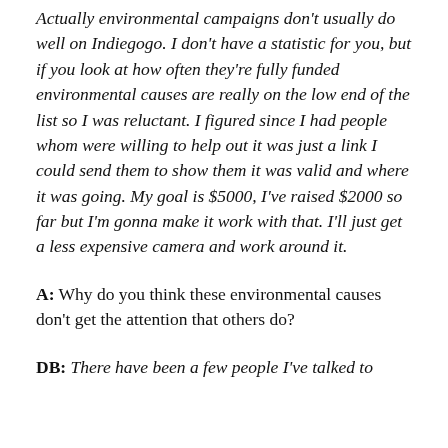Actually environmental campaigns don't usually do well on Indiegogo. I don't have a statistic for you, but if you look at how often they're fully funded environmental causes are really on the low end of the list so I was reluctant. I figured since I had people whom were willing to help out it was just a link I could send them to show them it was valid and where it was going. My goal is $5000, I've raised $2000 so far but I'm gonna make it work with that. I'll just get a less expensive camera and work around it.
A: Why do you think these environmental causes don't get the attention that others do?
DB: There have been a few people I've talked to